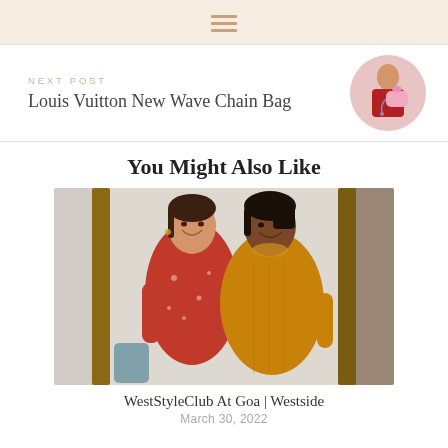≡ (hamburger menu icon)
NEXT POST
Louis Vuitton New Wave Chain Bag
[Figure (photo): Circular thumbnail photo of a person holding a pink Louis Vuitton chain bag]
You Might Also Like
[Figure (photo): Two women smiling together; one wearing a red floral dress, the other a yellow long-sleeve dress, standing in front of curtains and wooden furniture.]
WestStyleClub At Goa | Westside
March 30, 2022